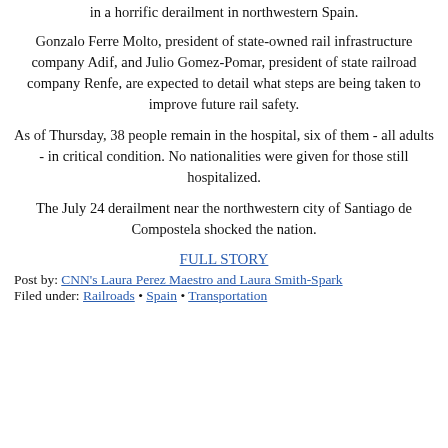in a horrific derailment in northwestern Spain.
Gonzalo Ferre Molto, president of state-owned rail infrastructure company Adif, and Julio Gomez-Pomar, president of state railroad company Renfe, are expected to detail what steps are being taken to improve future rail safety.
As of Thursday, 38 people remain in the hospital, six of them - all adults - in critical condition. No nationalities were given for those still hospitalized.
The July 24 derailment near the northwestern city of Santiago de Compostela shocked the nation.
FULL STORY
Post by: CNN's Laura Perez Maestro and Laura Smith-Spark
Filed under: Railroads • Spain • Transportation